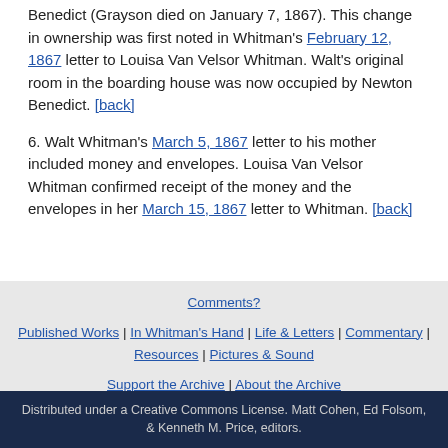Benedict (Grayson died on January 7, 1867). This change in ownership was first noted in Whitman's February 12, 1867 letter to Louisa Van Velsor Whitman. Walt's original room in the boarding house was now occupied by Newton Benedict. [back]
6. Walt Whitman's March 5, 1867 letter to his mother included money and envelopes. Louisa Van Velsor Whitman confirmed receipt of the money and the envelopes in her March 15, 1867 letter to Whitman. [back]
Comments? | Published Works | In Whitman's Hand | Life & Letters | Commentary | Resources | Pictures & Sound | Support the Archive | About the Archive
Distributed under a Creative Commons License. Matt Cohen, Ed Folsom, & Kenneth M. Price, editors.